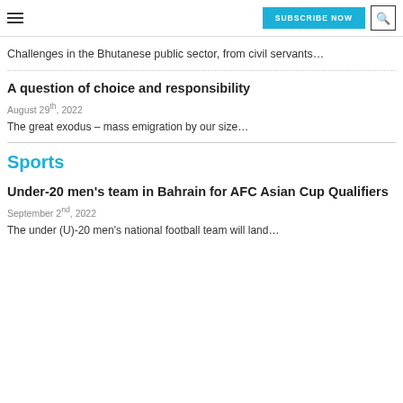SUBSCRIBE NOW
Challenges in the Bhutanese public sector, from civil servants…
A question of choice and responsibility
August 29th, 2022
The great exodus – mass emigration by our size…
Sports
Under-20 men's team in Bahrain for AFC Asian Cup Qualifiers
September 2nd, 2022
The under (U)-20 men's national football team will land…